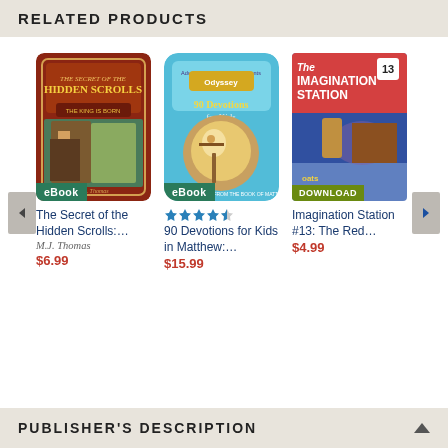RELATED PRODUCTS
[Figure (illustration): Book cover: The Secret of the Hidden Scrolls with eBook badge]
The Secret of the Hidden Scrolls:…
M.J. Thomas
$6.99
[Figure (illustration): Book cover: Adventures in Odyssey 90 Devotions for Kids with eBook badge and 4.5 star rating]
90 Devotions for Kids in Matthew:…
$15.99
[Figure (illustration): Book cover: Imagination Station #13: The Red... with DOWNLOAD badge]
Imagination Station #13: The Red…
$4.99
PUBLISHER'S DESCRIPTION